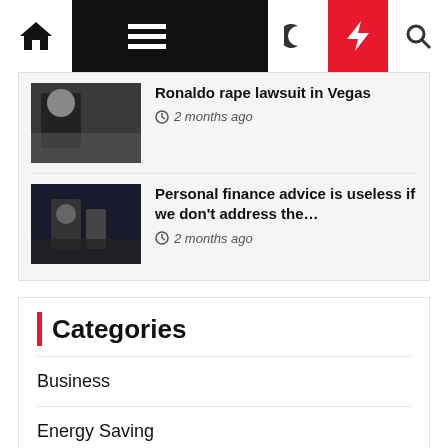Navigation bar with home icon, menu, moon, bolt, and search icons
Ronaldo rape lawsuit in Vegas — 2 months ago
Personal finance advice is useless if we don't address the… — 2 months ago
Categories
Business
Energy Saving
Finance
Insurance